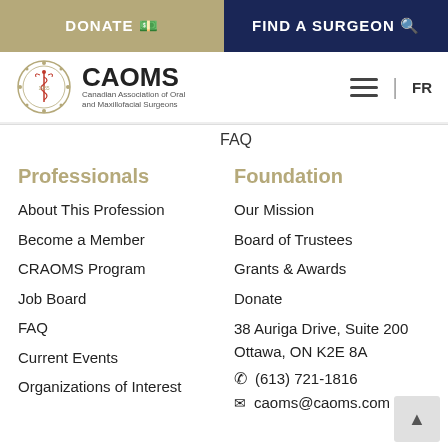DONATE   FIND A SURGEON
[Figure (logo): CAOMS logo - Canadian Association of Oral and Maxillofacial Surgeons with crest emblem]
FAQ
Professionals
About This Profession
Become a Member
CRAOMS Program
Job Board
FAQ
Current Events
Organizations of Interest
Foundation
Our Mission
Board of Trustees
Grants & Awards
Donate
38 Auriga Drive, Suite 200
Ottawa, ON K2E 8A
(613) 721-1816
caoms@caoms.com